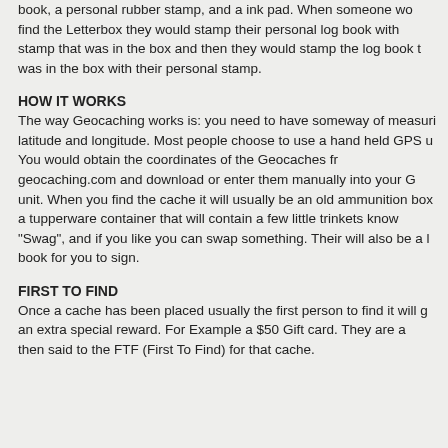book, a personal rubber stamp, and a ink pad. When someone wo find the Letterbox they would stamp their personal log book with stamp that was in the box and then they would stamp the log book t was in the box with their personal stamp.
HOW IT WORKS
The way Geocaching works is: you need to have someway of measuri latitude and longitude. Most people choose to use a hand held GPS u You would obtain the coordinates of the Geocaches fr geocaching.com and download or enter them manually into your G unit. When you find the cache it will usually be an old ammunition box a tupperware container that will contain a few little trinkets know "Swag", and if you like you can swap something. Their will also be a book for you to sign.
FIRST TO FIND
Once a cache has been placed usually the first person to find it will g an extra special reward. For Example a $50 Gift card. They are a then said to the FTF (First To Find) for that cache.